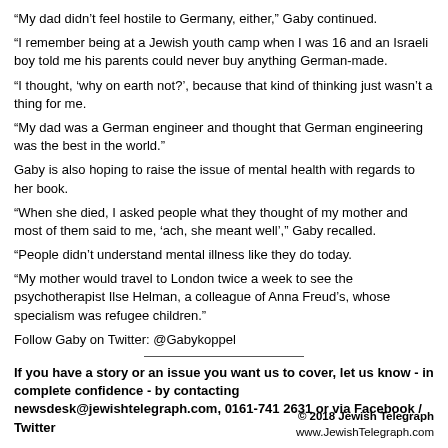“My dad didn’t feel hostile to Germany, either,” Gaby continued.
“I remember being at a Jewish youth camp when I was 16 and an Israeli boy told me his parents could never buy anything German-made.
“I thought, ‘why on earth not?’, because that kind of thinking just wasn’t a thing for me.
“My dad was a German engineer and thought that German engineering was the best in the world.”
Gaby is also hoping to raise the issue of mental health with regards to her book.
“When she died, I asked people what they thought of my mother and most of them said to me, ‘ach, she meant well’,” Gaby recalled.
“People didn’t understand mental illness like they do today.
“My mother would travel to London twice a week to see the psychotherapist Ilse Helman, a colleague of Anna Freud’s, whose specialism was refugee children.”
Follow Gaby on Twitter: @Gabykoppel
If you have a story or an issue you want us to cover, let us know - in complete confidence - by contacting newsdesk@jewishtelegraph.com, 0161-741 2631 or via Facebook / Twitter
© 2018 Jewish Telegraph
www.JewishTelegraph.com